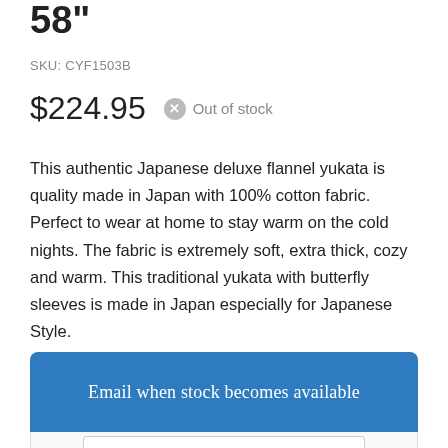58"
SKU: CYF1503B
$224.95  Out of stock
This authentic Japanese deluxe flannel yukata is quality made in Japan with 100% cotton fabric. Perfect to wear at home to stay warm on the cold nights. The fabric is extremely soft, extra thick, cozy and warm. This traditional yukata with butterfly sleeves is made in Japan especially for Japanese Style.
Email when stock becomes available
Your Name